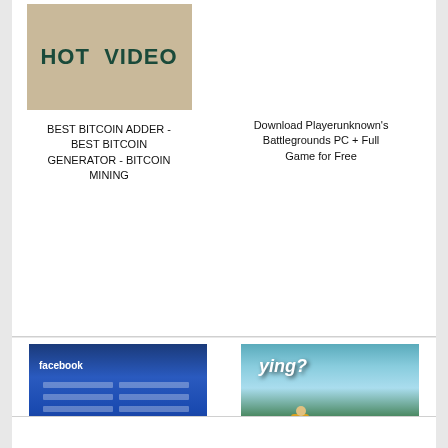[Figure (screenshot): HOT VIDEO thumbnail with tan/beige background and dark green bold text]
BEST BITCOIN ADDER - BEST BITCOIN GENERATOR - BITCOIN MINING
Download Playerunknown's Battlegrounds PC + Full Game for Free
[Figure (screenshot): Facebook hack tool screenshot showing Facebook login page with form fields]
New hack facebook 2018 using program hacker
[Figure (screenshot): Roblox game screenshot with flying? text and character in yellow]
WORKS ON MAC How to FlyNo Gravity Hack on Cheat Engine